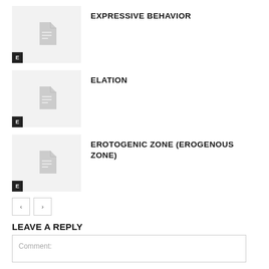[Figure (illustration): Thumbnail placeholder with document icon and E badge for Expressive Behavior]
EXPRESSIVE BEHAVIOR
[Figure (illustration): Thumbnail placeholder with document icon and E badge for Elation]
ELATION
[Figure (illustration): Thumbnail placeholder with document icon and E badge for Erotogenic Zone (Erogenous Zone)]
EROTOGENIC ZONE (EROGENOUS ZONE)
< >
LEAVE A REPLY
Comment: